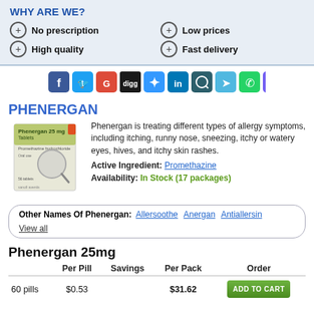WHY ARE WE?
No prescription
Low prices
High quality
Fast delivery
[Figure (infographic): Social media share icons: Facebook, Twitter, Google+, Digg, Delicious, LinkedIn, a dark icon, a bird icon, WhatsApp, Viber]
PHENERGAN
[Figure (photo): Box of Phenergan 25mg Tablets, Promethazine hydrochloride, 56 tablets by sanofi aventis, with a magnifying glass icon]
Phenergan is treating different types of allergy symptoms, including itching, runny nose, sneezing, itchy or watery eyes, hives, and itchy skin rashes.
Active Ingredient: Promethazine
Availability: In Stock (17 packages)
Other Names Of Phenergan: Allersoothe Anergan Antiallersin View all
Phenergan 25mg
|  | Per Pill | Savings | Per Pack | Order |
| --- | --- | --- | --- | --- |
| 60 pills | $0.53 |  | $31.62 | ADD TO CART |